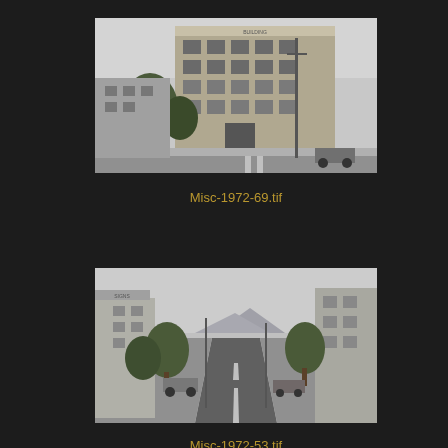[Figure (photo): Black and white photograph of a multi-story commercial/office building from 1972, approximately 5 stories tall with ornate facade, trees in front, street intersection visible]
Misc-1972-69.tif
[Figure (photo): Black and white photograph of a city street from 1972, showing a wide road with buildings on both sides, trees lining the street, cars parked along the curb, looking down the street toward mountains in the background]
Misc-1972-53.tif